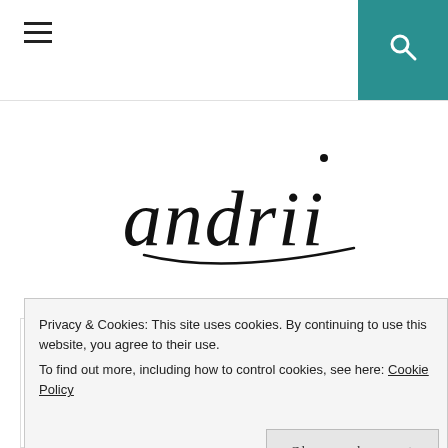≡  🔍
[Figure (logo): Handwritten cursive signature logo reading 'andrii']
PERSONAL / STYLE
2016 Lessons Vol. III
Privacy & Cookies: This site uses cookies. By continuing to use this website, you agree to their use.
To find out more, including how to control cookies, see here: Cookie Policy
Close and accept